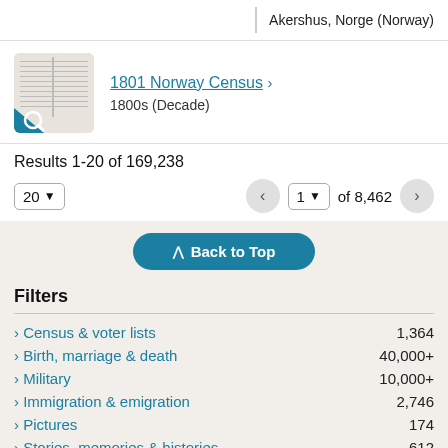Akershus, Norge (Norway)
1801 Norway Census > 1800s (Decade)
Results 1-20 of 169,238
20 ∨  < 1 ∨ of 8,462 >
^ Back to Top
Filters
> Census & voter lists  1,364
> Birth, marriage & death  40,000+
> Military  10,000+
> Immigration & emigration  2,746
> Pictures  174
> Stories, memories & histories  612